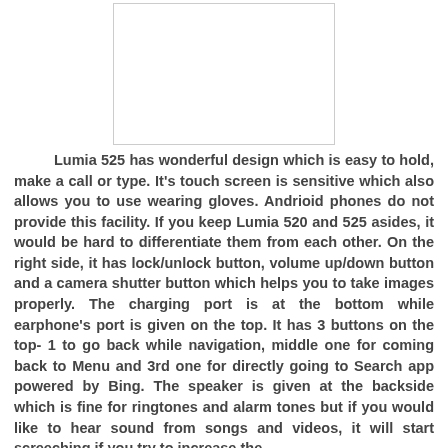[Figure (photo): White rectangle representing a phone image placeholder with light border]
Lumia 525 has wonderful design which is easy to hold, make a call or type. It's touch screen is sensitive which also allows you to use wearing gloves. Andrioid phones do not provide this facility. If you keep Lumia 520 and 525 asides, it would be hard to differentiate them from each other. On the right side, it has lock/unlock button, volume up/down button and a camera shutter button which helps you to take images properly. The charging port is at the bottom while earphone's port is given on the top. It has 3 buttons on the top- 1 to go back while navigation, middle one for coming back to Menu and 3rd one for directly going to Search app powered by Bing. The speaker is given at the backside which is fine for ringtones and alarm tones but if you would like to hear sound from songs and videos, it will start screeching if you try to increase the